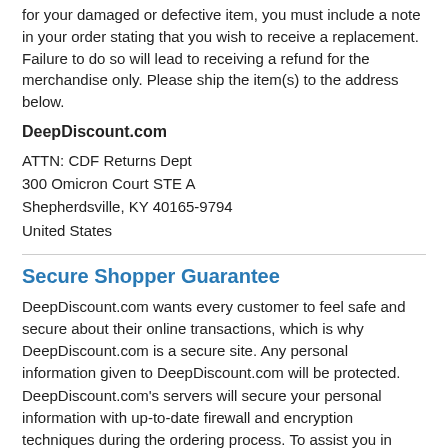for your damaged or defective item, you must include a note in your order stating that you wish to receive a replacement. Failure to do so will lead to receiving a refund for the merchandise only. Please ship the item(s) to the address below.
DeepDiscount.com
ATTN: CDF Returns Dept
300 Omicron Court STE A
Shepherdsville, KY 40165-9794
United States
Secure Shopper Guarantee
DeepDiscount.com wants every customer to feel safe and secure about their online transactions, which is why DeepDiscount.com is a secure site. Any personal information given to DeepDiscount.com will be protected. DeepDiscount.com's servers will secure your personal information with up-to-date firewall and encryption techniques during the ordering process. To assist you in recognizing secure areas of the DeepDiscount.com website a small lock icon will appear in the lower left-corner of your web browser. When this icon is present, and in the locked position, you know that information on that page will be secured. Added online security to protect your personal information from unauthorized use is provided by using advanced SSL (Secure Sockets